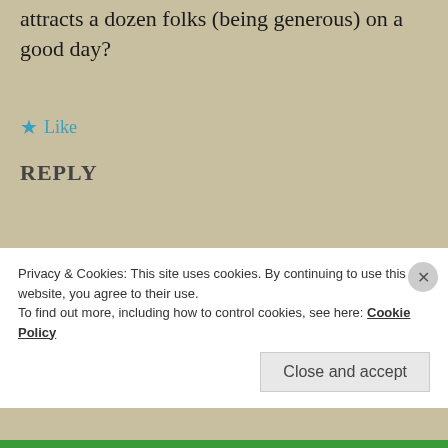attracts a dozen folks (being generous) on a good day?
★ Like
REPLY
RYAN
May 12, 2015 at 8:23 AM
[Figure (illustration): Circular avatar with pink background showing a cartoon purple bat-like creature with bunny ears, colorful eyes, and bat wings]
maybe you should post it there 😉
Privacy & Cookies: This site uses cookies. By continuing to use this website, you agree to their use.
To find out more, including how to control cookies, see here: Cookie Policy
Close and accept